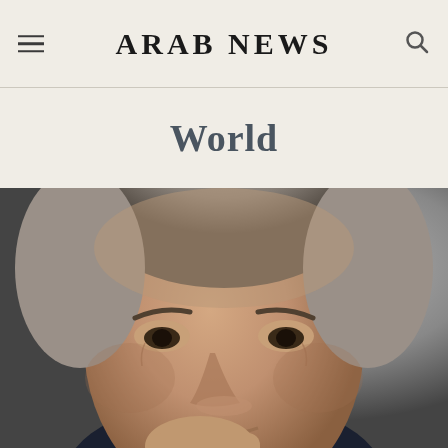ARAB NEWS
World
[Figure (photo): Close-up photo of a middle-aged man with short grey hair, looking pensively with his hand raised near his chin. Dark background with soft bokeh blur.]